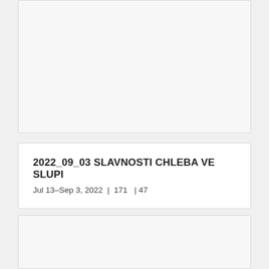[Figure (other): Gray placeholder card at top of page]
2022_09_03 SLAVNOSTI CHLEBA VE SLUPI
Jul 13–Sep 3, 2022  |  171   | 47
[Figure (other): Gray placeholder card at bottom of page]